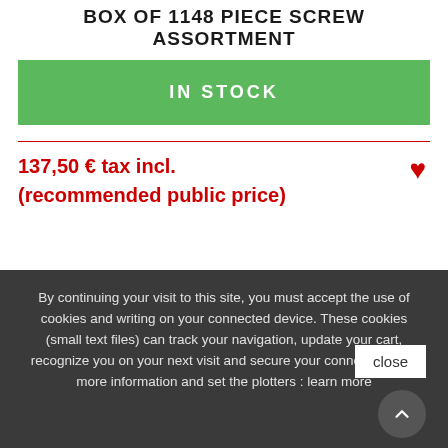BOX OF 1148 PIECE SCREW ASSORTMENT
IN STOCK
137,50 € tax incl.
(recommended public price)
By continuing your visit to this site, you must accept the use of cookies and writing on your connected device. These cookies (small text files) can track your navigation, update your cart, recognize you on your next visit and secure your connection. For more information and set the plotters : learn more